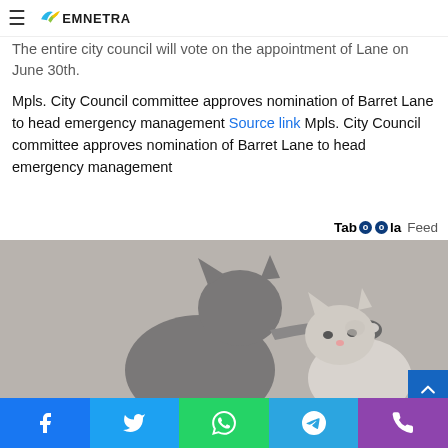EMNETRA
The entire city council will vote on the appointment of Lane on June 30th.
Mpls. City Council committee approves nomination of Barret Lane to head emergency management Source link Mpls. City Council committee approves nomination of Barret Lane to head emergency management
Taboola Feed
[Figure (photo): Two cats facing each other — a larger grey cat reaching out to touch a smaller white and grey cat, photographed against a beige/grey background.]
Social share buttons: Facebook, Twitter, WhatsApp, Telegram, Phone